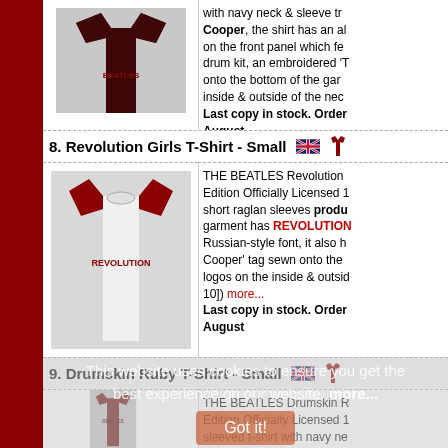[Figure (photo): Partial view of a dark red/maroon Beatles t-shirt product image, top of page]
with navy neck & sleeve tr... Cooper, the shirt has an al... on the front panel which fe... drum kit, an embroidered 'T... onto the bottom of the gar... inside & outside of the nec... Last copy in stock. Order... August
8. Revolution Girls T-Shirt - Small
[Figure (photo): White raglan-sleeve Beatles Revolution girls t-shirt with red sleeves and REVOLUTION text on front]
THE BEATLES Revolution ... Edition Officially Licensed 1... short raglan sleeves produced... garment has REVOLUTION... Russian-style font, it also h... Cooper' tag sewn onto the... logos on the inside & outsid... 10]) more... Last copy in stock. Order... August
9. Drumskin Ruby T-Shirt - Small
[Figure (photo): Dark red/maroon Beatles Drumskin Ruby t-shirt product photo]
THE BEATLES Drumskin R... Edition Officially Licensed 1... sleeved t-shirt with navy ne... for Lee Cooper, the shirt h... image on the front panel wh... Ringos drum kit, an embro... sewn onto the bottom of th... the inside & outside of the n... Last copy in stock. Orde...